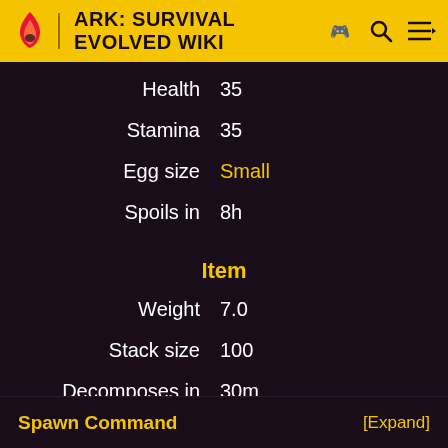ARK: SURVIVAL EVOLVED WIKI
| Property | Value |
| --- | --- |
| Health | 35 |
| Stamina | 35 |
| Egg size | Small |
| Spoils in | 8h |
| Item |  |
| Weight | 7.0 |
| Stack size | 100 |
| Decomposes in | 30m |
Spawn Command
[Expand]